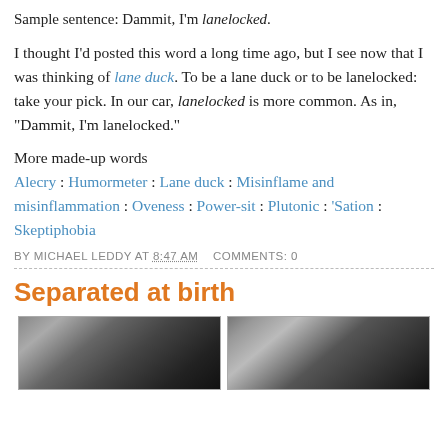Sample sentence: Dammit, I'm lanelocked.
I thought I'd posted this word a long time ago, but I see now that I was thinking of lane duck. To be a lane duck or to be lanelocked: take your pick. In our car, lanelocked is more common. As in, “Dammit, I’m lanelocked.”
More made-up words
Alecry : Humormeter : Lane duck : Misinflame and misinflammation : Oveness : Power-sit : Plutonic : ’Sation : Skeptiphobia
BY MICHAEL LEDDY AT 8:47 AM   COMMENTS: 0
Separated at birth
[Figure (photo): Two black-and-white portrait photos side by side, showing faces of two people]